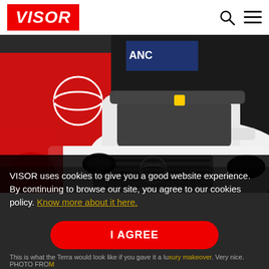VISOR
[Figure (photo): White Nissan Terra SUV displayed at an auto show booth with a red Nissan backdrop and the Nissan logo. Another red SUV is visible in the background on the left.]
VISOR uses cookies to give you a good website experience. By continuing to browse our site, you agree to our cookies policy. Know more about it here.
I AGREE
This is what the Terra would look like if you gave it a luxury makeover. Very nice. PHOTO FROM